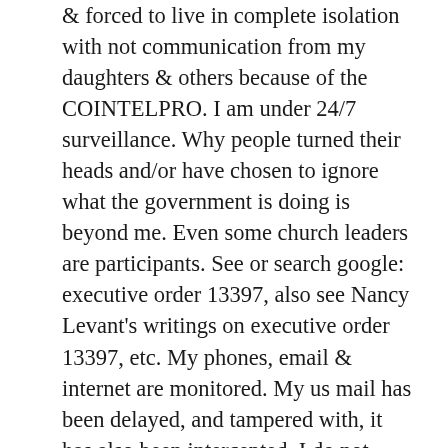& forced to live in complete isolation with not communication from my daughters & others because of the COINTELPRO. I am under 24/7 surveillance. Why people turned their heads and/or have chosen to ignore what the government is doing is beyond me. Even some church leaders are participants. See or search google: executive order 13397, also see Nancy Levant's writings on executive order 13397, etc. My phones, email & internet are monitored. My us mail has been delayed, and tampered with, it has also been intercepted. I do not expect it to stop. After all who is going to investigate the COINTELPRO. Isn't that why so many folks have volunteer their services to it? The government's got their back. They can do whatever they want to do. On walks, strangers have taunted & threaten me etc. My medical information has been distributed to community members & my